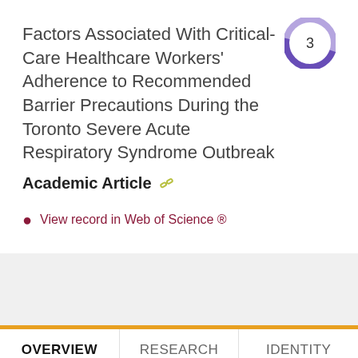Factors Associated With Critical-Care Healthcare Workers' Adherence to Recommended Barrier Precautions During the Toronto Severe Acute Respiratory Syndrome Outbreak
Academic Article
View record in Web of Science ®
OVERVIEW   RESEARCH   IDENTITY